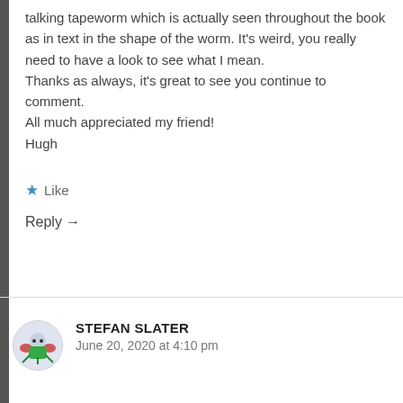talking tapeworm which is actually seen throughout the book as in text in the shape of the worm. It's weird, you really need to have a look to see what I mean.
Thanks as always, it's great to see you continue to comment.
All much appreciated my friend!
Hugh
★ Like
Reply →
STEFAN SLATER
June 20, 2020 at 4:10 pm